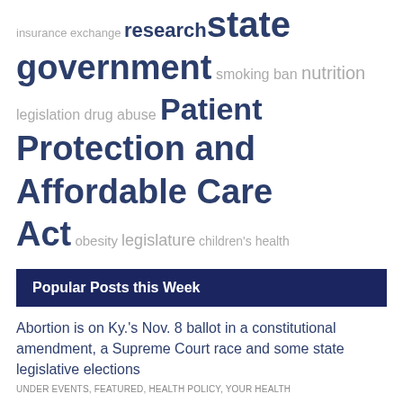[Figure (infographic): Tag cloud showing health policy topics: insurance exchange, research, state, government, smoking ban, nutrition, legislation, drug abuse, Patient Protection and Affordable Care Act, obesity, legislature, children's health]
Popular Posts this Week
Abortion is on Ky.'s Nov. 8 ballot in a constitutional amendment, a Supreme Court race and some state legislative elections
under EVENTS, FEATURED, HEALTH POLICY, YOUR HEALTH
All about your coronavirus vaccine card
under CORONAVIRUS, FEATURED, YOUR HEALTH
Ky. has had 18 monkeypox cases: 10 in Jefferson, 2 in Warren, 1 in Barren, Fayette, Kenton, McCracken, Montgomery